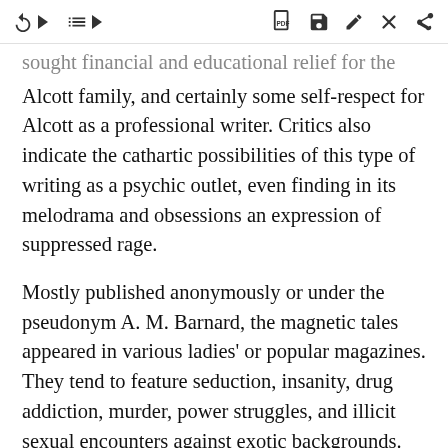[toolbar icons: back, list, PDF, save, edit, message, share]
sought financial and emotional relief for the Alcott family, and certainly some self-respect for Alcott as a professional writer. Critics also indicate the cathartic possibilities of this type of writing as a psychic outlet, even finding in its melodrama and obsessions an expression of suppressed rage.
Mostly published anonymously or under the pseudonym A. M. Barnard, the magnetic tales appeared in various ladies' or popular magazines. They tend to feature seduction, insanity, drug addiction, murder, power struggles, and illicit sexual encounters against exotic backgrounds. Their subjects reflect Alcott's deep-rooted theatrical interest, also documented in Little Women—the dark streak that drew her, stagestruck,